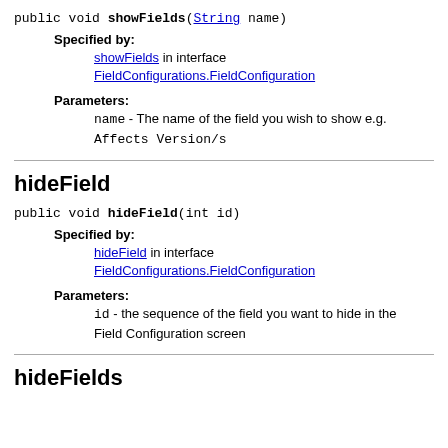public void showFields(String name)
Specified by:
showFields in interface FieldConfigurations.FieldConfiguration
Parameters:
name - The name of the field you wish to show e.g. Affects Version/s
hideField
public void hideField(int id)
Specified by:
hideField in interface FieldConfigurations.FieldConfiguration
Parameters:
id - the sequence of the field you want to hide in the Field Configuration screen
hideFields